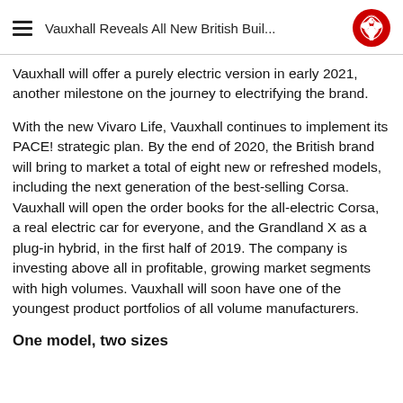Vauxhall Reveals All New British Buil...
Vauxhall will offer a purely electric version in early 2021, another milestone on the journey to electrifying the brand.
With the new Vivaro Life, Vauxhall continues to implement its PACE! strategic plan. By the end of 2020, the British brand will bring to market a total of eight new or refreshed models, including the next generation of the best-selling Corsa. Vauxhall will open the order books for the all-electric Corsa, a real electric car for everyone, and the Grandland X as a plug-in hybrid, in the first half of 2019. The company is investing above all in profitable, growing market segments with high volumes. Vauxhall will soon have one of the youngest product portfolios of all volume manufacturers.
One model, two sizes